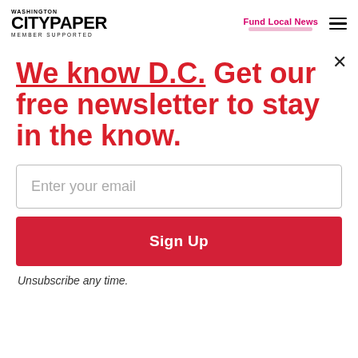WASHINGTON CITYPAPER MEMBER SUPPORTED | Fund Local News
[Figure (screenshot): Washington City Paper logo with 'WASHINGTON' above 'CITYPAPER' in bold black, 'MEMBER SUPPORTED' below in small caps. Right side shows 'Fund Local News' in pink/magenta with pink underline stroke, and a hamburger menu icon.]
We know D.C. Get our free newsletter to stay in the know.
Enter your email
Sign Up
Unsubscribe any time.